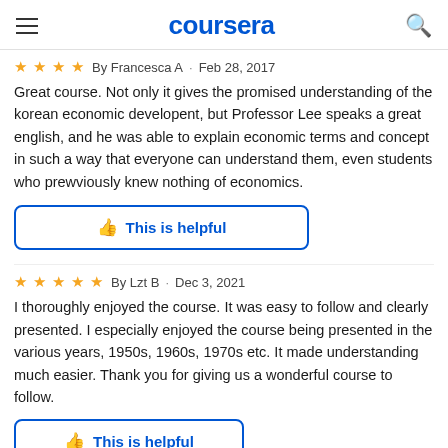coursera
By Francesca A · Feb 28, 2017
Great course. Not only it gives the promised understanding of the korean economic developent, but Professor Lee speaks a great english, and he was able to explain economic terms and concept in such a way that everyone can understand them, even students who prewviously knew nothing of economics.
This is helpful
By Lzt B · Dec 3, 2021
I thoroughly enjoyed the course.  It was easy to follow and clearly presented.  I especially enjoyed the course being presented in the various years, 1950s, 1960s, 1970s etc.  It made understanding much easier.  Thank you for giving us a wonderful course to follow.